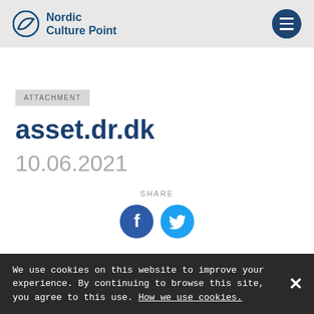Nordic Culture Point
ATTACHMENT
asset.dr.dk
10.06.2021
SHARE
We use cookies on this website to improve your experience. By continuing to browse this site, you agree to this use. How we use cookies.